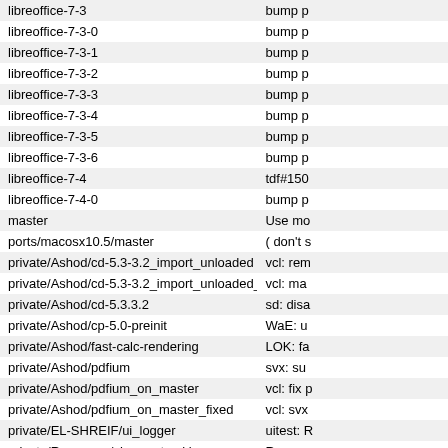| libreoffice-7-3 | bump p |
| libreoffice-7-3-0 | bump p |
| libreoffice-7-3-1 | bump p |
| libreoffice-7-3-2 | bump p |
| libreoffice-7-3-3 | bump p |
| libreoffice-7-3-4 | bump p |
| libreoffice-7-3-5 | bump p |
| libreoffice-7-3-6 | bump p |
| libreoffice-7-4 | tdf#150 |
| libreoffice-7-4-0 | bump p |
| master | Use mo |
| ports/macosx10.5/master | ( don't s |
| private/Ashod/cd-5.3-3.2_import_unloaded | vcl: rem |
| private/Ashod/cd-5.3-3.2_import_unloaded_share_GfxLink | vcl: ma |
| private/Ashod/cd-5.3.3.2 | sd: disa |
| private/Ashod/cp-5.0-preinit | WaE: u |
| private/Ashod/fast-calc-rendering | LOK: fa |
| private/Ashod/pdfium | svx: su |
| private/Ashod/pdfium_on_master | vcl: fix p |
| private/Ashod/pdfium_on_master_fixed | vcl: svx |
| private/EL-SHREIF/ui_logger | uitest: R |
| private/Rosemary/change-tracking | Remov |
| private/Sweetshark/killswclient | dont us |
| private/Sweetshark/lessdepend | SwCon |
| private/Sweetshark/multilistenerfix | compile |